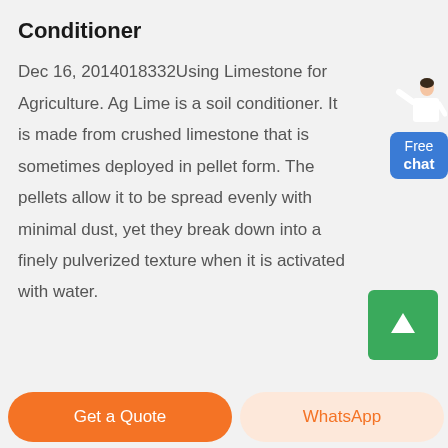Conditioner
Dec 16, 2014018332Using Limestone for Agriculture. Ag Lime is a soil conditioner. It is made from crushed limestone that is sometimes deployed in pellet form. The pellets allow it to be spread evenly with minimal dust, yet they break down into a finely pulverized texture when it is activated with water.
[Figure (illustration): Free chat widget with a customer service figure and blue button labeled 'Free chat']
[Figure (illustration): Green scroll-to-top button with upward arrow]
Get a Quote   WhatsApp